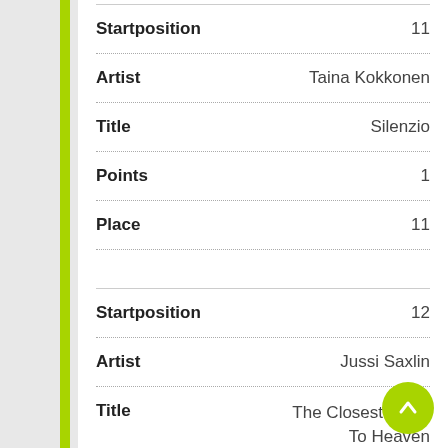| Field | Value |
| --- | --- |
| Startposition | 11 |
| Artist | Taina Kokkonen |
| Title | Silenzio |
| Points | 1 |
| Place | 11 |
| Field | Value |
| --- | --- |
| Startposition | 12 |
| Artist | Jussi Saxlin |
| Title | The Closest Thing To Heaven |
| Points | 0 |